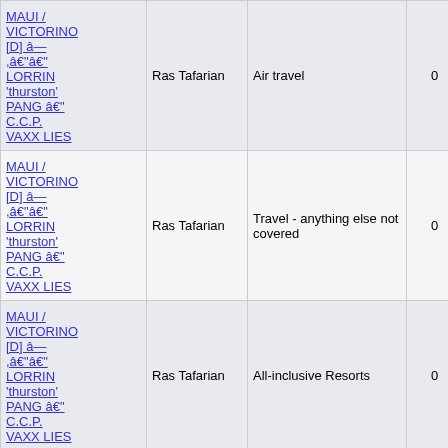| Name | Author | Description | Count | Date |
| --- | --- | --- | --- | --- |
| MAUI / VICTORINO [D] â— ,â€"â€" LORRIN 'thurston' PANG â€" C.C.P. VAXX LIES | Ras Tafarian | Air travel | 0 | Ma 31s 202 09:1 P |
| MAUI / VICTORINO [D] â— ,â€"â€" LORRIN 'thurston' PANG â€" C.C.P. VAXX LIES | Ras Tafarian | Travel - anything else not covered | 0 | Ma 31s 202 09:1 P |
| MAUI / VICTORINO [D] â— ,â€"â€" LORRIN 'thurston' PANG â€" C.C.P. VAXX LIES | Ras Tafarian | All-inclusive Resorts | 0 | Ma 31s 202 09:1 P |
| MAUI / VICTORINO [D] â— ,â€"â€" LORRIN 'thurston' PANG â€" C.C.P. VAXX LIES | Ras Tafarian |  |  |  |